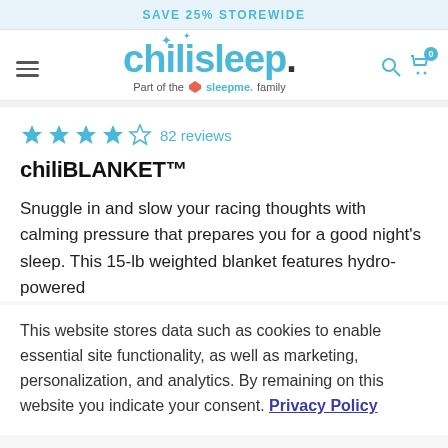SAVE 25% STOREWIDE
[Figure (logo): chilisleep logo with hamburger menu, search and cart icons. Logo reads 'chilisleep.' with tagline 'Part of the sleepme family']
★★★★☆ 82 reviews
chiliBLANKET™
Snuggle in and slow your racing thoughts with calming pressure that prepares you for a good night's sleep. This 15-lb weighted blanket features hydro-powered
This website stores data such as cookies to enable essential site functionality, as well as marketing, personalization, and analytics. By remaining on this website you indicate your consent. Privacy Policy